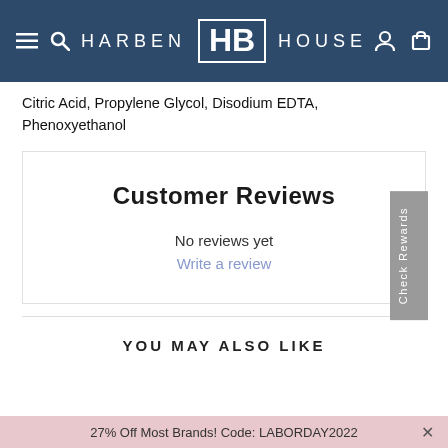[Figure (logo): Harben House logo on dark blue navigation header with hamburger menu, search, user account and cart icons]
Citric Acid, Propylene Glycol, Disodium EDTA, Phenoxyethanol
Customer Reviews
No reviews yet
Write a review
YOU MAY ALSO LIKE
27% Off Most Brands! Code: LABORDAY2022